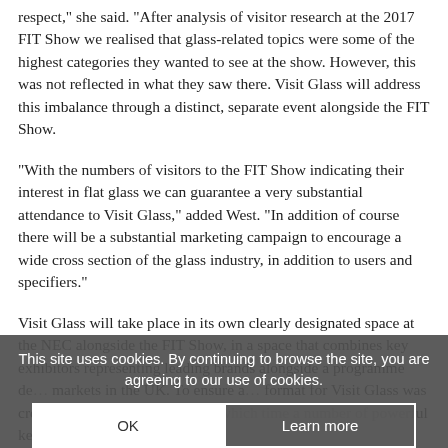respect," she said. "After analysis of visitor research at the 2017 FIT Show we realised that glass-related topics were some of the highest categories they wanted to see at the show. However, this was not reflected in what they saw there. Visit Glass will address this imbalance through a distinct, separate event alongside the FIT Show.
"With the numbers of visitors to the FIT Show indicating their interest in flat glass we can guarantee a very substantial attendance to Visit Glass," added West. "In addition of course there will be a substantial marketing campaign to encourage a wide cross section of the glass industry, in addition to users and specifiers."
Visit Glass will take place in its own clearly designated space at the NEC alongside the FIT Show, in a space that combines key exhibitors representing leading brands alongside a programme de… markets in the UK. To ensure a… format for Visit Glass was created the eve… nched; during which time a number of powerful key brands were quick to re…
This site uses cookies. By continuing to browse the site, you are agreeing to our use of cookies.